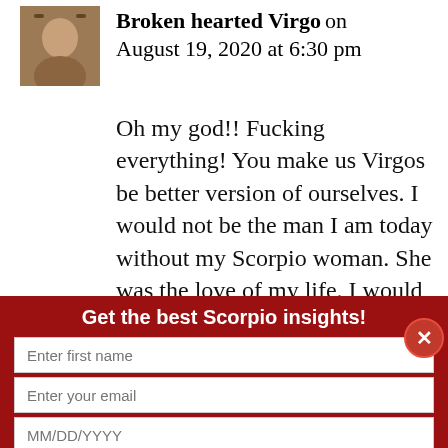[Figure (photo): Avatar photo of a man with glasses]
Broken hearted Virgo on August 19, 2020 at 6:30 pm
Oh my god!! Fucking everything! You make us Virgos be better version of ourselves. I would not be the man I am today without my Scorpio woman. She was the love of my life. I would do absolutely an_y_thing to get
Get the best Scorpio insights!
Enter first name
Enter your email
MM/DD/YYYY
Subscribe